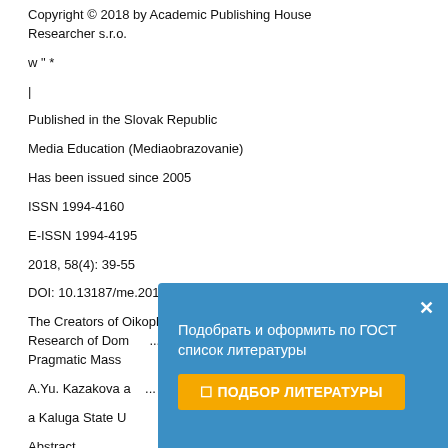Copyright © 2018 by Academic Publishing House Researcher s.r.o.
w " *
|
Published in the Slovak Republic
Media Education (Mediaobrazovanie)
Has been issued since 2005
ISSN 1994-4160
E-ISSN 1994-4195
2018, 58(4): 39-55
DOI: 10.13187/me.2018.4.39 www.ejournal53.com
The Creators of Oikophobia: To Methodology of Research of Domestic... Pragmatic Mass...
A.Yu. Kazakova a...
a Kaluga State U...
Abstract